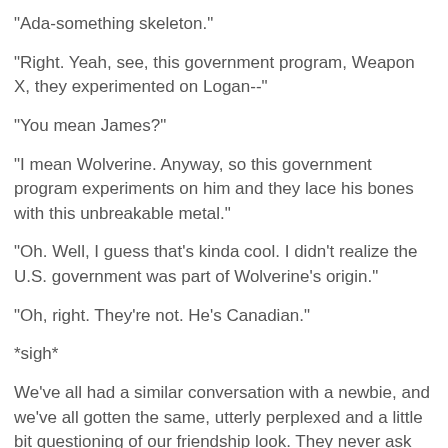"Ada-something skeleton."
"Right. Yeah, see, this government program, Weapon X, they experimented on Logan--"
"You mean James?"
"I mean Wolverine. Anyway, so this government program experiments on him and they lace his bones with this unbreakable metal."
"Oh. Well, I guess that's kinda cool. I didn't realize the U.S. government was part of Wolverine's origin."
"Oh, right. They're not. He's Canadian."
*sigh*
We've all had a similar conversation with a newbie, and we've all gotten the same, utterly perplexed and a little bit questioning of our friendship look. They never ask what Superman's origin is, because that one is simple and easy to